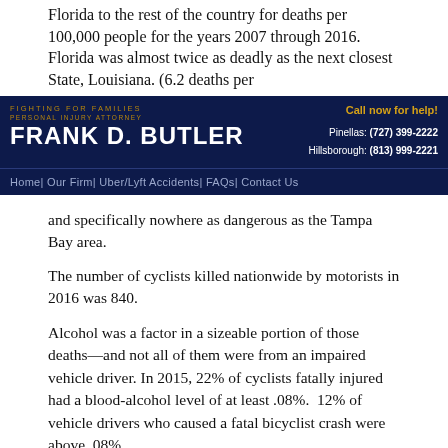Florida to the rest of the country for deaths per 100,000 people for the years 2007 through 2016. Florida was almost twice as deadly as the next closest State, Louisiana. (6.2 deaths per
FIGHTING FOR FAMILIES | PERSONAL INJURY ATTORNEY | FRANK D. BUTLER | Call now for help! | Pinellas: (727) 399-2222 | Hillsborough: (813) 999-2221
Home | Our Firm | Uber/Lyft Accidents | FAQs | Contact Us
and specifically nowhere as dangerous as the Tampa Bay area.
The number of cyclists killed nationwide by motorists in 2016 was 840.
Alcohol was a factor in a sizeable portion of those deaths—and not all of them were from an impaired vehicle driver. In 2015, 22% of cyclists fatally injured had a blood-alcohol level of at least .08%.  12% of vehicle drivers who caused a fatal bicyclist crash were above .08%.
The danger of riding a bicycle is a serious problem even as